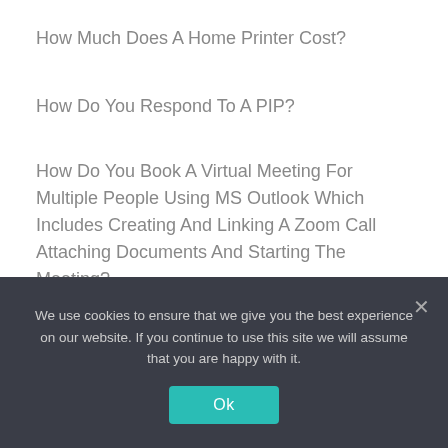How Much Does A Home Printer Cost?
How Do You Respond To A PIP?
How Do You Book A Virtual Meeting For Multiple People Using MS Outlook Which Includes Creating And Linking A Zoom Call Attaching Documents And Starting The Meeting?
How Do You Make An Outline For An Essay
Is Sales A Hard Or Soft Skill?
What Are The Parts Of A UK Address?
How Do I Make A Timeline Chart In Word?
We use cookies to ensure that we give you the best experience on our website. If you continue to use this site we will assume that you are happy with it.